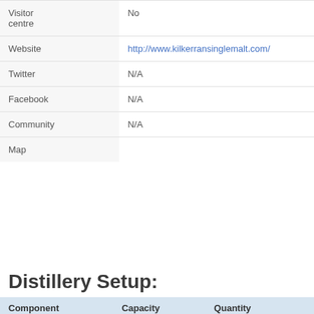|  |  |
| --- | --- |
| Visitor centre | No |
| Website | http://www.kilkerransinglemalt.com/ |
| Twitter | N/A |
| Facebook | N/A |
| Community | N/A |
| Map |  |
Distillery Setup:
| Component | Capacity | Quantity |
| --- | --- | --- |
| Mash tun | ? | 1 (Stainless |